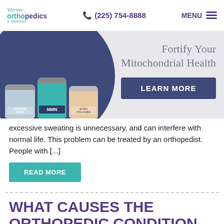Warner Orthopedics & Wellness | (225) 754-8888 | MENU
[Figure (photo): Advertisement banner for mitochondrial health supplements (NMN jars) with text 'Fortify Your Mitochondrial Health' and a 'LEARN MORE' button on dark blue background]
excessive sweating is unnecessary, and can interfere with normal life. This problem can be treated by an orthopedist. People with [...]
READ MORE
WHAT CAUSES THE ORTHOPEDIC CONDITION CALLED "SNAPPING HIP"?